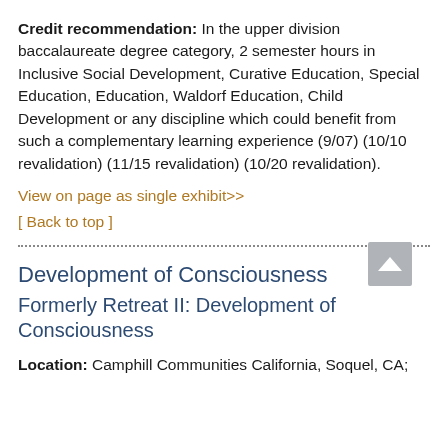Credit recommendation: In the upper division baccalaureate degree category, 2 semester hours in Inclusive Social Development, Curative Education, Special Education, Education, Waldorf Education, Child Development or any discipline which could benefit from such a complementary learning experience (9/07) (10/10 revalidation) (11/15 revalidation) (10/20 revalidation).
View on page as single exhibit>>
[ Back to top ]
Development of Consciousness
Formerly Retreat II: Development of Consciousness
Location: Camphill Communities California, Soquel, CA;